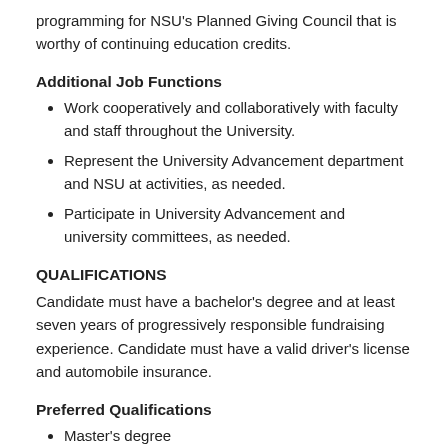programming for NSU's Planned Giving Council that is worthy of continuing education credits.
Additional Job Functions
Work cooperatively and collaboratively with faculty and staff throughout the University.
Represent the University Advancement department and NSU at activities, as needed.
Participate in University Advancement and university committees, as needed.
QUALIFICATIONS
Candidate must have a bachelor's degree and at least seven years of progressively responsible fundraising experience. Candidate must have a valid driver's license and automobile insurance.
Preferred Qualifications
Master's degree
Seven years of fundraising experience within higher